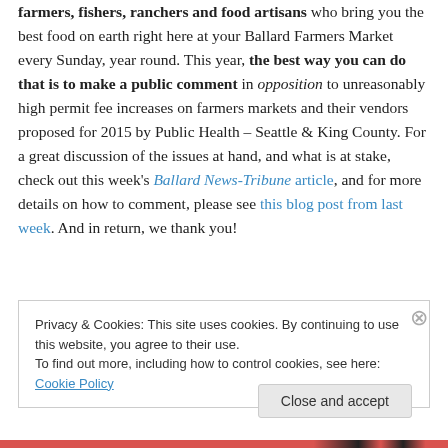farmers, fishers, ranchers and food artisans who bring you the best food on earth right here at your Ballard Farmers Market every Sunday, year round. This year, the best way you can do that is to make a public comment in opposition to unreasonably high permit fee increases on farmers markets and their vendors proposed for 2015 by Public Health – Seattle & King County. For a great discussion of the issues at hand, and what is at stake, check out this week's Ballard News-Tribune article, and for more details on how to comment, please see this blog post from last week. And in return, we thank you!
Privacy & Cookies: This site uses cookies. By continuing to use this website, you agree to their use. To find out more, including how to control cookies, see here: Cookie Policy